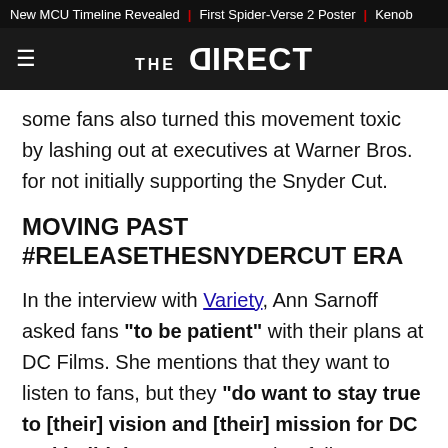New MCU Timeline Revealed | First Spider-Verse 2 Poster | Kenob
[Figure (logo): The Direct website logo — hamburger menu icon on left, THE DIRECT wordmark in white on dark background]
some fans also turned this movement toxic by lashing out at executives at Warner Bros. for not initially supporting the Snyder Cut.
MOVING PAST #RELEASETHESNYDERCUT ERA
In the interview with Variety, Ann Sarnoff asked fans "to be patient" with their plans at DC Films. She mentions that they want to listen to fans, but they "do want to stay true to [their] vision and [their] mission for DC and build that out." Here's her full quote: